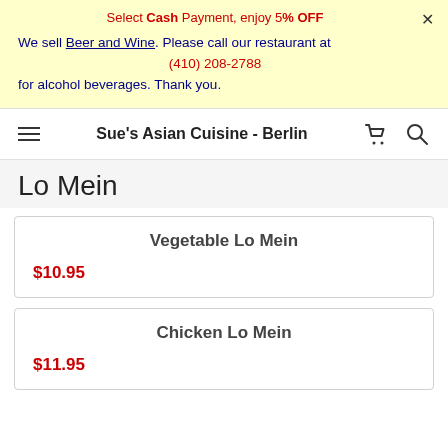Select Cash Payment, enjoy 5% OFF
We sell Beer and Wine. Please call our restaurant at (410) 208-2788 for alcohol beverages. Thank you.
Sue's Asian Cuisine - Berlin
Lo Mein
Vegetable Lo Mein
$10.95
Chicken Lo Mein
$11.95